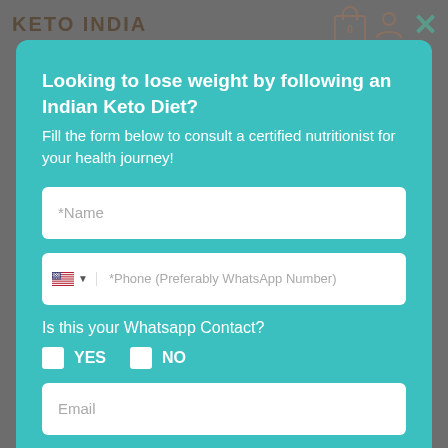KETO INDIA
Looking to lose weight by following an Indian Keto Diet?
Fill the form below to consult a certified nutritionist for your health journey!
*Name (form field)
*Phone (Preferably WhatsApp Number) (form field)
Is this your Whatsapp Contact?
YES  NO (checkboxes)
Email (form field)
SUBMIT (button)